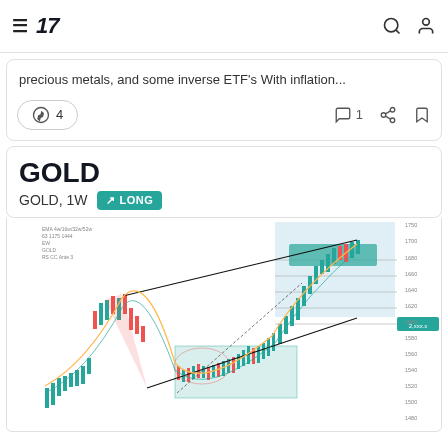TradingView navigation header with hamburger menu, logo '17', search and user icons
precious metals, and some inverse ETF's With inflation...
🚀 4   💬 1   share   bookmark
GOLD
GOLD, 1W  ↗ LONG
[Figure (continuous-plot): Weekly GOLD price chart showing a long trade setup. Chart shows price action with green and red candlesticks. A highlighted blue/teal shaded area in the upper right shows a target zone. Price has consolidated in a green shaded box in the middle, then rallied sharply. Diagonal lines indicate target projections upward. Price level labels visible on right axis.]